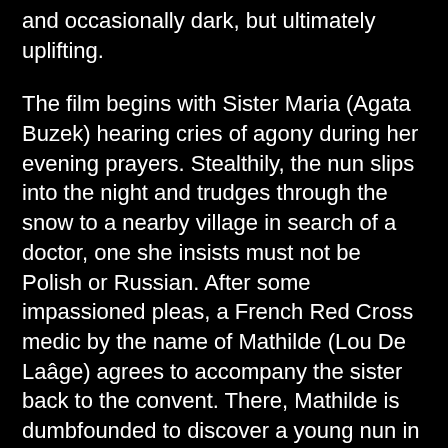and occasionally dark, but ultimately uplifting.
The film begins with Sister Maria (Agata Buzek) hearing cries of agony during her evening prayers. Stealthily, the nun slips into the night and trudges through the snow to a nearby village in search of a doctor, one she insists must not be Polish or Russian. After some impassioned pleas, a French Red Cross medic by the name of Mathilde (Lou De Laâge) agrees to accompany the sister back to the convent. There, Mathilde is dumbfounded to discover a young nun in the final stages of a difficult, potentially fatal labor. She manages to save both the mother and child, but immediately afterwards is set upon by the convent's Mother Superior (Ida's Agata Kulesza), who is furious that Sister Maria has allowed a stranger inside their consecrated walls. Mathilde is ordered never to return but. concerned for her new patient, she threatens to expose the incident if not allowed to care for the woman. Reluctantly, the Rev. Mother agrees, not just to let Mathilde come and go as needed, but to learn the truth behind what has transpired.
What Mathilde hears horrifies her. As the war began to wind